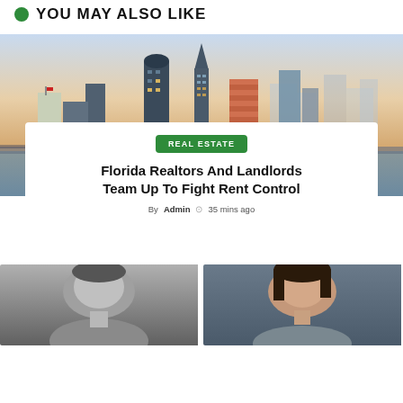YOU MAY ALSO LIKE
[Figure (photo): City skyline photo showing Tampa Bay downtown buildings at dusk/sunset with waterfront]
REAL ESTATE
Florida Realtors And Landlords Team Up To Fight Rent Control
By Admin  35 mins ago
[Figure (photo): Black and white close-up headshot of a person (left side)]
[Figure (photo): Color headshot of a woman with dark hair (right side)]